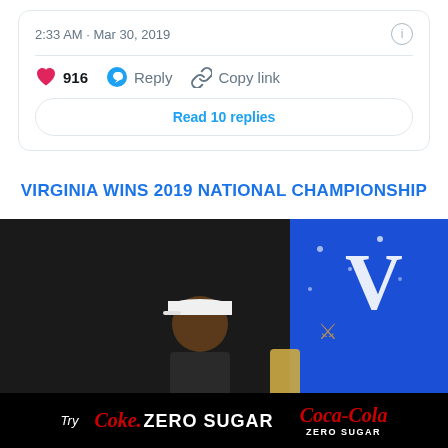2:33 AM · Mar 30, 2019
916  Reply  Copy link
Read 10 replies
VIRGINIA WINS 2019 NATIONAL CHAMPIONSHIP
[Figure (photo): Person wearing white cap celebrating Virginia 2019 National Championship, with Virginia Cavaliers blue banner visible in background]
[Figure (other): Try Coke Zero Sugar advertisement bar with Coca-Cola Zero Sugar logo]